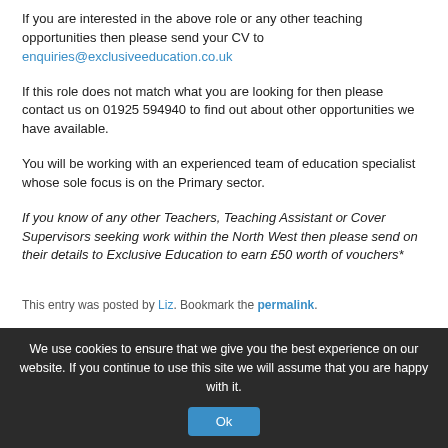If you are interested in the above role or any other teaching opportunities then please send your CV to enquiries@exclusiveeducation.co.uk
If this role does not match what you are looking for then please contact us on 01925 594940 to find out about other opportunities we have available.
You will be working with an experienced team of education specialist whose sole focus is on the Primary sector.
If you know of any other Teachers, Teaching Assistant or Cover Supervisors seeking work within the North West then please send on their details to Exclusive Education to earn £50 worth of vouchers*
This entry was posted by Liz. Bookmark the permalink.
We use cookies to ensure that we give you the best experience on our website. If you continue to use this site we will assume that you are happy with it. Ok